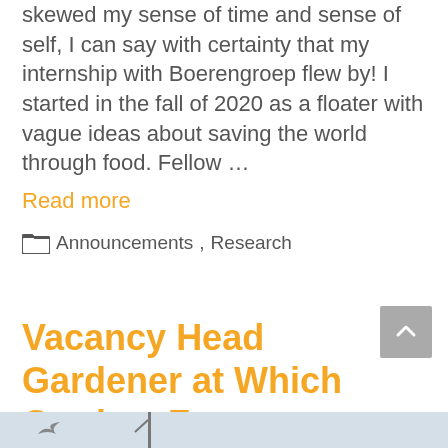skewed my sense of time and sense of self, I can say with certainty that my internship with Boerengroep flew by! I started in the fall of 2020 as a floater with vague ideas about saving the world through food. Fellow … Read more
Announcements, Research
Vacancy Head Gardener at Which Garden, France
January 27, 2021 by Boerengroep
[Figure (photo): Partial image strip at bottom showing a bird silhouette and a stick/pole against a light blue-grey sky background]